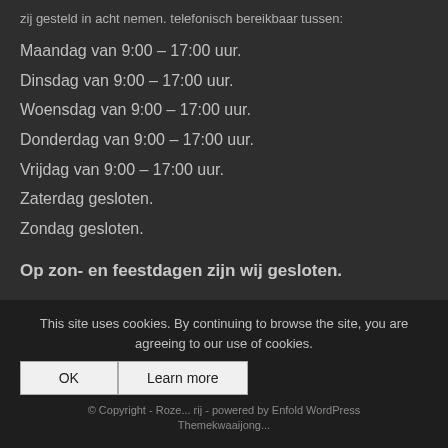zij gesteld in acht nemen. telefonisch bereikbaar tussen:
Maandag van 9:00 – 17:00 uur.
Dinsdag van 9:00 – 17:00 uur.
Woensdag van 9:00 – 17:00 uur.
Donderdag van 9:00 – 17:00 uur.
Vrijdag van 9:00 – 17:00 uur.
Zaterdag gesloten.
Zondag gesloten.
Op zon- en feestdagen zijn wij gesloten.
This site uses cookies. By continuing to browse the site, you are agreeing to our use of cookies. OK Learn more © Copyright - Roze... rij - powered by Enfold WordPress Themekwaaijong...